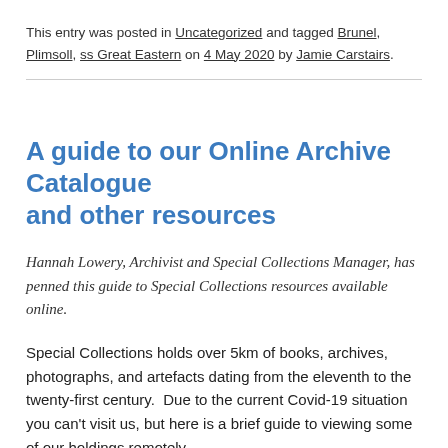This entry was posted in Uncategorized and tagged Brunel, Plimsoll, ss Great Eastern on 4 May 2020 by Jamie Carstairs.
A guide to our Online Archive Catalogue and other resources
Hannah Lowery, Archivist and Special Collections Manager, has penned this guide to Special Collections resources available online.
Special Collections holds over 5km of books, archives, photographs, and artefacts dating from the eleventh to the twenty-first century.  Due to the current Covid-19 situation you can't visit us, but here is a brief guide to viewing some of our holdings remotely.